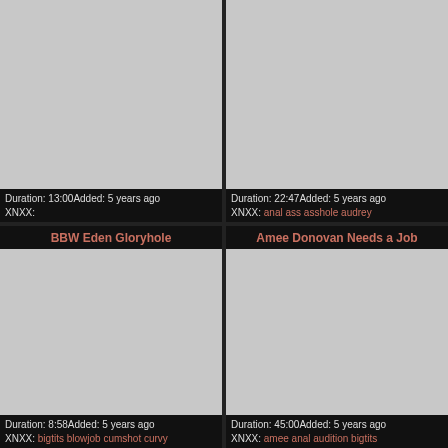[Figure (screenshot): Video thumbnail placeholder (gray) top-left, no title shown]
Duration: 13:00Added: 5 years ago XNXX:
[Figure (screenshot): Video thumbnail placeholder (gray) top-right, no title shown]
Duration: 22:47Added: 5 years ago XNXX: anal ass asshole audrey
BBW Eden Gloryhole
[Figure (screenshot): Video thumbnail placeholder (gray) bottom-left]
Duration: 8:58Added: 5 years ago XNXX: bigtits blowjob cumshot curvy
Amee Donovan Needs a Job
[Figure (screenshot): Video thumbnail placeholder (gray) bottom-right]
Duration: 45:00Added: 5 years ago XNXX: amee anal audition bigtits